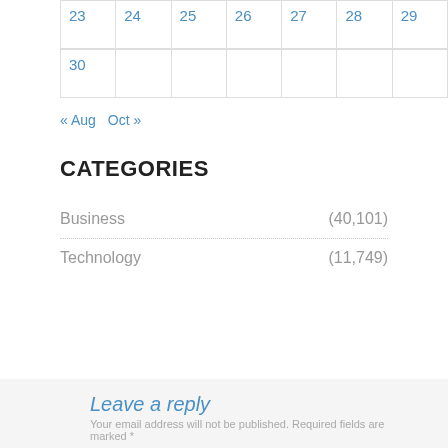| 23 | 24 | 25 | 26 | 27 | 28 | 29 |
| 30 |  |  |  |  |  |  |
« Aug   Oct »
CATEGORIES
Business (40,101)
Technology (11,749)
Leave a reply